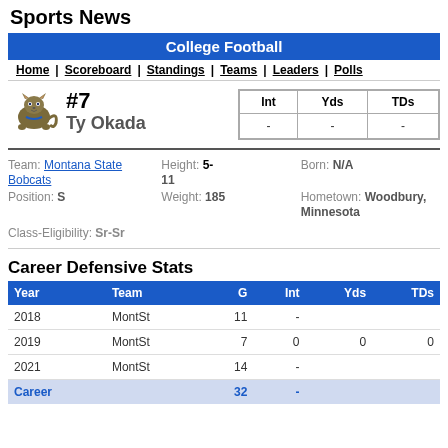Sports News
College Football
Home | Scoreboard | Standings | Teams | Leaders | Polls
#7 Ty Okada — Int: - Yds: - TDs: -
Team: Montana State Bobcats | Height: 5-11 | Born: N/A | Position: S | Weight: 185 | Hometown: Woodbury, Minnesota
Class-Eligibility: Sr-Sr
Career Defensive Stats
| Year | Team | G | Int | Yds | TDs |
| --- | --- | --- | --- | --- | --- |
| 2018 | MontSt | 11 | - |  |  |
| 2019 | MontSt | 7 | 0 | 0 | 0 |
| 2021 | MontSt | 14 | - |  |  |
| Career |  | 32 | - |  |  |